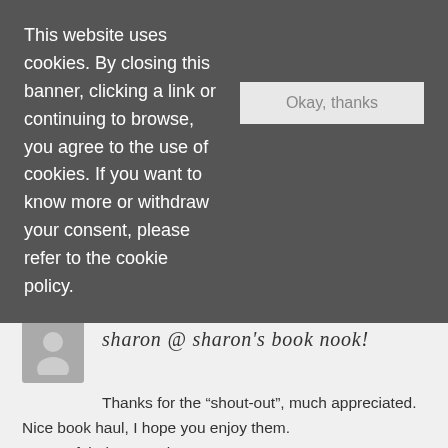This website uses cookies. By closing this banner, clicking a link or continuing to browse, you agree to the use of cookies. If you want to know more or withdraw your consent, please refer to the cookie policy.
Okay, thanks
december 15, 2014, 2:10 pm
Reply
sharon @ sharon's book nook!
Thanks for the “shout-out”, much appreciated. Nice book haul, I hope you enjoy them. Have a fabulous week.
Sharon @ Sharon’s Book Nook! recently posted: Weekly Wrap & Blog News – 14 December 2014